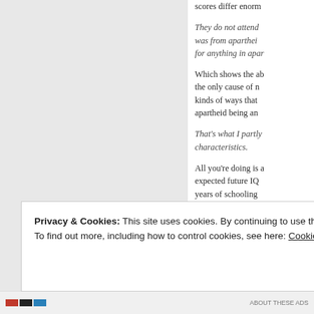scores differ enorm
They do not attend was from apartheid for anything in apar
Which shows the ab the only cause of n kinds of ways that apartheid being an
That’s what I partly characteristics.
All you’re doing is a expected future IQ years of schooling
Privacy & Cookies: This site uses cookies. By continuing to use this website, you agree to their use.
To find out more, including how to control cookies, see here: Cookie Policy
Close and accept